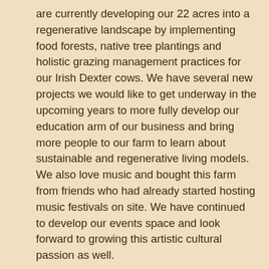are currently developing our 22 acres into a regenerative landscape by implementing food forests, native tree plantings and holistic grazing management practices for our Irish Dexter cows. We have several new projects we would like to get underway in the upcoming years to more fully develop our education arm of our business and bring more people to our farm to learn about sustainable and regenerative living models. We also love music and bought this farm from friends who had already started hosting music festivals on site. We have continued to develop our events space and look forward to growing this artistic cultural passion as well.

Since last year when we first put the call out,